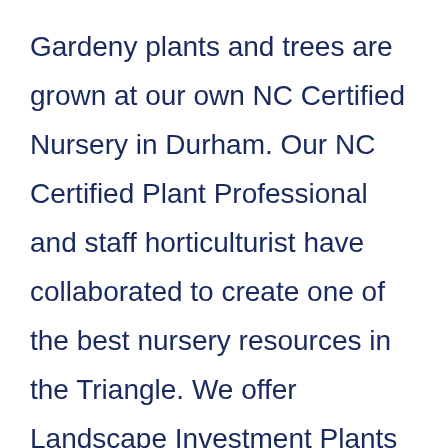Gardeny plants and trees are grown at our own NC Certified Nursery in Durham. Our NC Certified Plant Professional and staff horticulturist have collaborated to create one of the best nursery resources in the Triangle. We offer Landscape Investment Plants and Trees that will return dividends in growth, beauty, and value throughout the life of your landscape.
Nulla libero massa, rhoncus in sem semper, suscipit gravida ante. Mauris erat massa, imperdiet quis turpis nec, faucibus aliquam metus. Donec ut